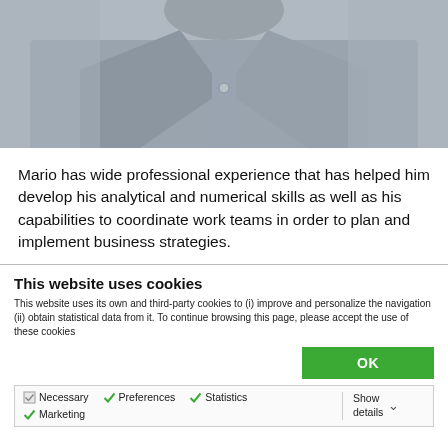[Figure (photo): Partial photo of a person wearing a grey button-up shirt, cropped showing collar and chest area]
Mario has wide professional experience that has helped him develop his analytical and numerical skills as well as his capabilities to coordinate work teams in order to plan and implement business strategies.
This website uses cookies
This website uses its own and third-party cookies to (i) improve and personalize the navigation (ii) obtain statistical data from it. To continue browsing this page, please accept the use of these cookies
OK
Necessary  Preferences  Statistics  Show details  Marketing